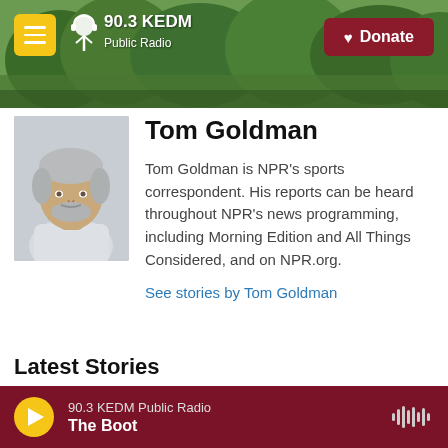[Figure (screenshot): 90.3 KEDM Public Radio website header with green tree background, hamburger menu button, logo, and Donate button]
Tom Goldman
[Figure (photo): Headshot photo of Tom Goldman, a middle-aged man with white/gray hair and beard, wearing a light shirt]
Tom Goldman is NPR's sports correspondent. His reports can be heard throughout NPR's news programming, including Morning Edition and All Things Considered, and on NPR.org.
See stories by Tom Goldman
Latest Stories
90.3 KEDM Public Radio
The Boot